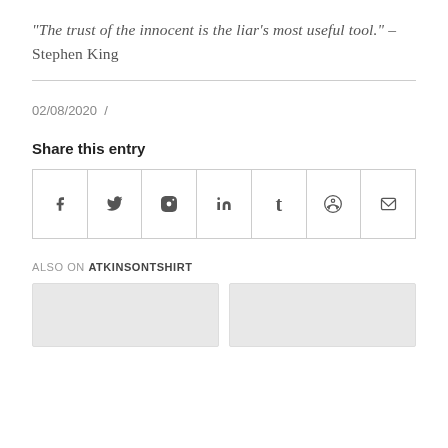“The trust of the innocent is the liar’s most useful tool.” – Stephen King
02/08/2020 /
Share this entry
[Figure (other): Social sharing buttons row: Facebook (f), Twitter (bird), Pinterest (p), LinkedIn (in), Tumblr (t), Reddit (alien), Email (envelope)]
ALSO ON ATKINSONTSHIRT
[Figure (other): Two preview card thumbnails at bottom of page (gray placeholder boxes)]